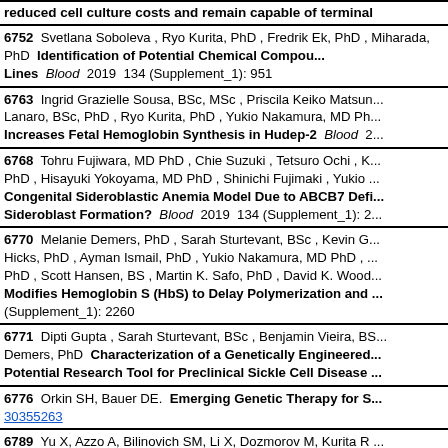reduced cell culture costs and remain capable of terminal...
6752  Svetlana Soboleva , Ryo Kurita, PhD , Fredrik Ek, PhD , Miharada, PhD  Identification of Potential Chemical Compounds... Lines  Blood  2019  134 (Supplement_1): 951
6763  Ingrid Grazielle Sousa, BSc, MSc , Priscila Keiko Matsun... Lanaro, BSc, PhD , Ryo Kurita, PhD , Yukio Nakamura, MD Ph... Increases Fetal Hemoglobin Synthesis in Hudep-2  Blood  2...
6768  Tohru Fujiwara, MD PhD , Chie Suzuki , Tetsuro Ochi , K... PhD , Hisayuki Yokoyama, MD PhD , Shinichi Fujimaki , Yukio... Congenital Sideroblastic Anemia Model Due to ABCB7 Def... Sideroblast Formation?  Blood  2019  134 (Supplement_1): 2...
6770  Melanie Demers, PhD , Sarah Sturtevant, BSc , Kevin G... Hicks, PhD , Ayman Ismail, PhD , Yukio Nakamura, MD PhD , ... PhD , Scott Hansen, BS , Martin K. Safo, PhD , David K. Wood... Modifies Hemoglobin S (HbS) to Delay Polymerization and (Supplement_1): 2260
6771  Dipti Gupta , Sarah Sturtevant, BSc , Benjamin Vieira, BS... Demers, PhD  Characterization of a Genetically Engineered Potential Research Tool for Preclinical Sickle Cell Disease
6776  Orkin SH, Bauer DE.  Emerging Genetic Therapy for S... 30355263
6789  Yu X, Azzo A, Bilinovich SM, Li X, Dozmorov M, Kurita R... complex but not MBD3-NuRD induces high level HbF expre... 104(12):2361-2371  PubMed ID: 31004025